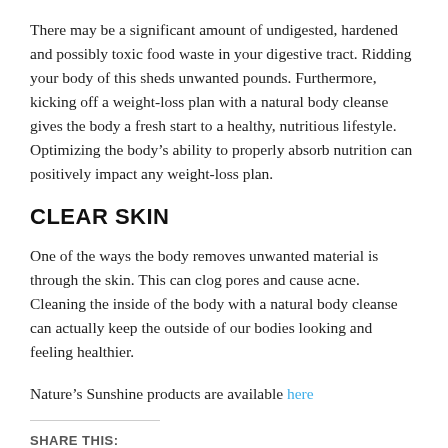There may be a significant amount of undigested, hardened and possibly toxic food waste in your digestive tract. Ridding your body of this sheds unwanted pounds. Furthermore, kicking off a weight-loss plan with a natural body cleanse gives the body a fresh start to a healthy, nutritious lifestyle. Optimizing the body's ability to properly absorb nutrition can positively impact any weight-loss plan.
CLEAR SKIN
One of the ways the body removes unwanted material is through the skin. This can clog pores and cause acne. Cleaning the inside of the body with a natural body cleanse can actually keep the outside of our bodies looking and feeling healthier.
Nature's Sunshine products are available here
SHARE THIS:
Twitter   Facebook